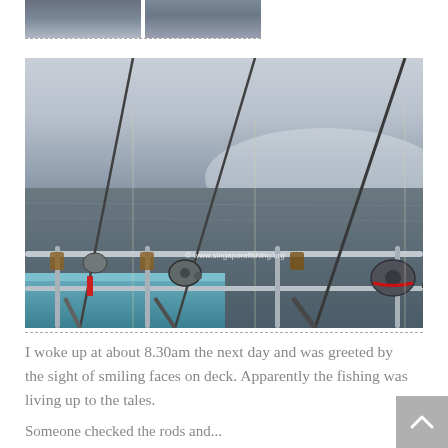[Figure (photo): Two small thumbnail photos at top showing people on a boat, with dashed borders below]
[Figure (photo): Large photograph of fishing rods mounted on a boat railing with the ocean in the background. Watermark reads: © www.singaporefishing.org. Blue boat railing visible at bottom.]
I woke up at about 8.30am the next day and was greeted by the sight of smiling faces on deck. Apparently the fishing was living up to the tales.
Something about the next day...